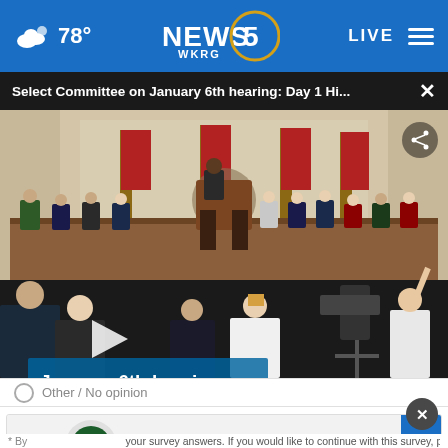NEWS 5 WKRG — 78° — LIVE
Select Committee on January 6th hearing: Day 1 Hi... ×
[Figure (screenshot): Congressional hearing room with committee members seated at raised dais, American flags in background, photographers and witnesses in foreground. Overlay text reads 'January 6th hearing:' with play button.]
Other / No opinion
Up To $75 Off Goodyear Tires VirginiaTire & Auto of Ashburn Fa.
* By
your survey answers. If you would like to continue with this survey, please